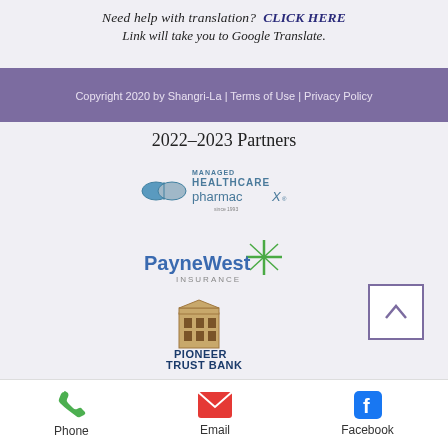Need help with translation? CLICK HERE
Link will take you to Google Translate.
Copyright 2020 by Shangri-La | Terms of Use | Privacy Policy
2022-2023 Partners
[Figure (logo): Managed Healthcare PharmacX logo]
[Figure (logo): PayneWest Insurance logo]
[Figure (logo): Pioneer Trust Bank logo]
[Figure (logo): Partially visible logo at bottom]
Phone | Email | Facebook